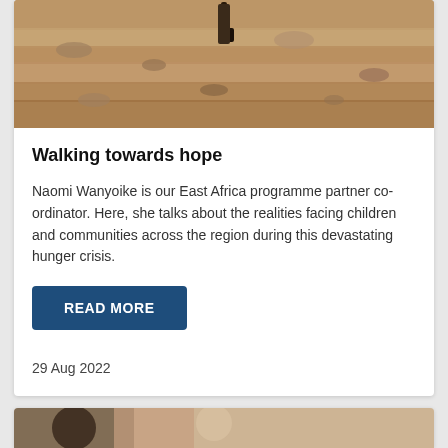[Figure (photo): Person walking on a rocky, sandy landscape viewed from above — arid East Africa terrain]
Walking towards hope
Naomi Wanyoike is our East Africa programme partner co-ordinator. Here, she talks about the realities facing children and communities across the region during this devastating hunger crisis.
READ MORE
29 Aug 2022
[Figure (photo): Partial view of people, one in focus in the foreground — indoor setting]